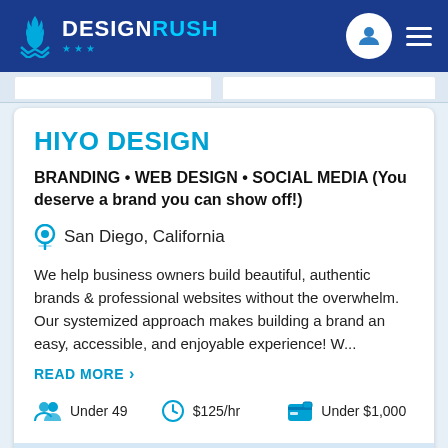DESIGNRUSH
HIYO DESIGN
BRANDING • WEB DESIGN • SOCIAL MEDIA (You deserve a brand you can show off!)
San Diego, California
We help business owners build beautiful, authentic brands & professional websites without the overwhelm. Our systemized approach makes building a brand an easy, accessible, and enjoyable experience! W...
READ MORE >
Under 49   $125/hr   Under $1,000
Be the first to review HIYO DESIGN